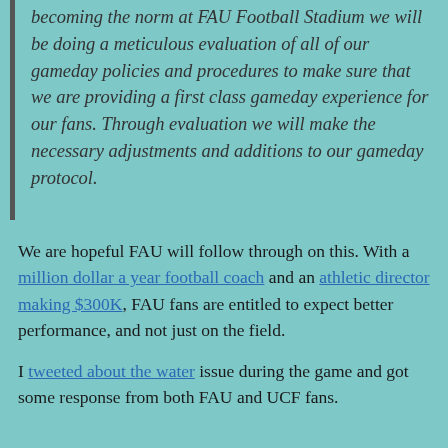becoming the norm at FAU Football Stadium we will be doing a meticulous evaluation of all of our gameday policies and procedures to make sure that we are providing a first class gameday experience for our fans. Through evaluation we will make the necessary adjustments and additions to our gameday protocol.
We are hopeful FAU will follow through on this. With a million dollar a year football coach and an athletic director making $300K, FAU fans are entitled to expect better performance, and not just on the field.
I tweeted about the water issue during the game and got some response from both FAU and UCF fans.